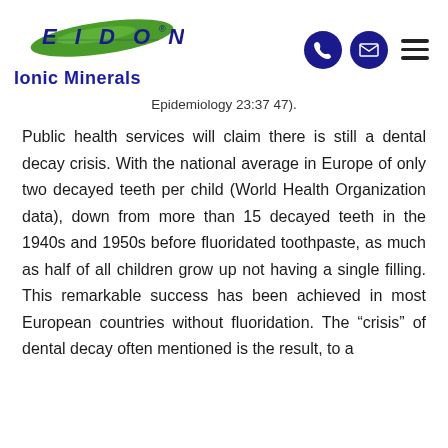Eidon Ionic Minerals — header with logo and navigation icons
Epidemiology 23:37 47).
Public health services will claim there is still a dental decay crisis. With the national average in Europe of only two decayed teeth per child (World Health Organization data), down from more than 15 decayed teeth in the 1940s and 1950s before fluoridated toothpaste, as much as half of all children grow up not having a single filling. This remarkable success has been achieved in most European countries without fluoridation. The “crisis” of dental decay often mentioned is the result, to a